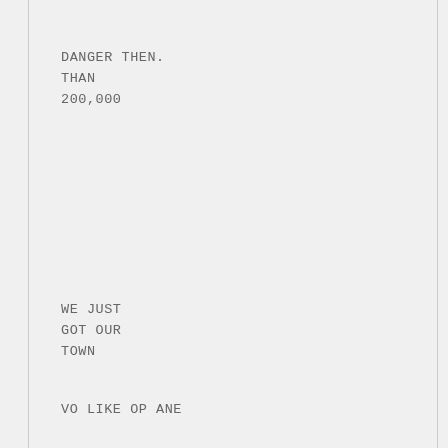DANGER THEN.
THAN
200,000
WE JUST
GOT OUR
TOWN
VO LIKE OP ANE